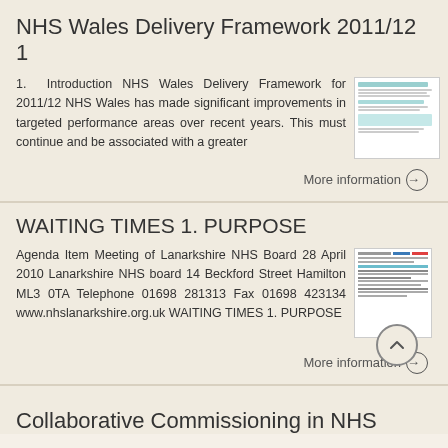NHS Wales Delivery Framework 2011/12 1
1. Introduction NHS Wales Delivery Framework for 2011/12 NHS Wales has made significant improvements in targeted performance areas over recent years. This must continue and be associated with a greater
More information →
WAITING TIMES 1. PURPOSE
Agenda Item Meeting of Lanarkshire NHS Board 28 April 2010 Lanarkshire NHS board 14 Beckford Street Hamilton ML3 0TA Telephone 01698 281313 Fax 01698 423134 www.nhslanarkshire.org.uk WAITING TIMES 1. PURPOSE
More information →
Collaborative Commissioning in NHS